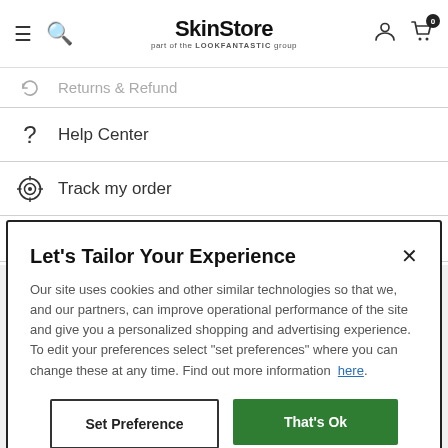SkinStore part of the LOOKFANTASTIC group
Returns & Refund
? Help Center
Track my order
Accessibility
Let's Tailor Your Experience
Our site uses cookies and other similar technologies so that we, and our partners, can improve operational performance of the site and give you a personalized shopping and advertising experience. To edit your preferences select "set preferences" where you can change these at any time. Find out more information here.
Set Preference | That's Ok